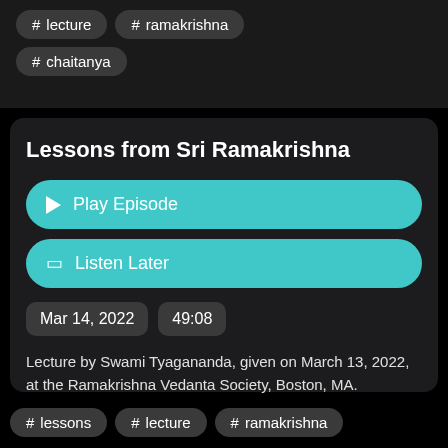# lecture
# ramakrishna
# chaitanya
Lessons from Sri Ramakrishna
▶ Play Episode
🔖 Listen Later
Mar 14, 2022
49:08
Lecture by Swami Tyagananda, given on March 13, 2022, at the Ramakrishna Vedanta Society, Boston, MA.
# lessons
# lecture
# ramakrishna